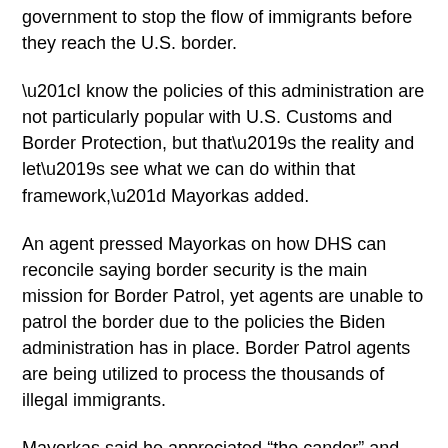government to stop the flow of immigrants before they reach the U.S. border.
“I know the policies of this administration are not particularly popular with U.S. Customs and Border Protection, but that’s the reality and let’s see what we can do within that framework,” Mayorkas added.
An agent pressed Mayorkas on how DHS can reconcile saying border security is the main mission for Border Patrol, yet agents are unable to patrol the border due to the policies the Biden administration has in place. Border Patrol agents are being utilized to process the thousands of illegal immigrants.
Mayorkas said he appreciated “the candor” and explained he is working to ensure agents have the personnel, funding, and equipment they need to do their job. The agent replied they